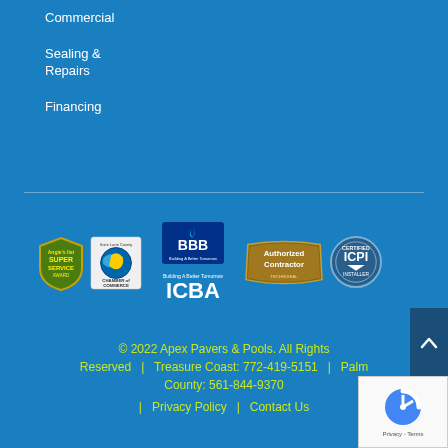Commercial
Sealing & Repairs
Financing
[Figure (logo): Row of certification and association logos: Angie's List Super Service Award, St. Lucie County Chamber of Commerce, BBB Building A Better Tomorrow / ICBA Treasure Coast Builders Association, Authorized Contractor, ICPI Certified Installer]
© 2022 Apex Pavers & Pools. All Rights Reserved  |  Treasure Coast: 772-419-5151  |  Palm County: 561-844-9370  |  Privacy Policy  |  Contact Us